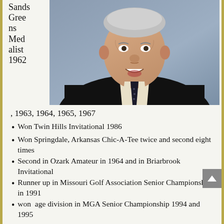[Figure (photo): Portrait photograph of an older smiling man wearing a dark suit jacket, white dress shirt, and dark patterned tie, photographed from the chest up against a gray-blue background.]
Sands Greens Medalist 1962
, 1963, 1964, 1965, 1967
Won Twin Hills Invitational 1986
Won Springdale, Arkansas Chic-A-Tee twice and second eight times
Second in Ozark Amateur in 1964 and in Briarbrook Invitational
Runner up in Missouri Golf Association Senior Championship in 1991
won age division in MGA Senior Championship 1994 and 1995